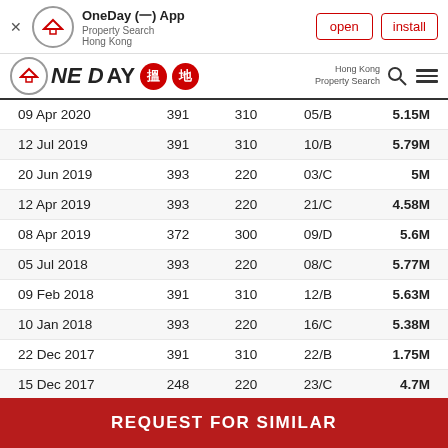[Figure (screenshot): App install banner for OneDay (一) App - Property Search Hong Kong, with open and install buttons]
[Figure (logo): OneDay 搵地 logo with house icon, navigation bar with Hong Kong Property Search and menu icon]
| Date | Col1 | Col2 | Unit | Price |
| --- | --- | --- | --- | --- |
| 09 Apr 2020 | 391 | 310 | 05/B | 5.15M |
| 12 Jul 2019 | 391 | 310 | 10/B | 5.79M |
| 20 Jun 2019 | 393 | 220 | 03/C | 5M |
| 12 Apr 2019 | 393 | 220 | 21/C | 4.58M |
| 08 Apr 2019 | 372 | 300 | 09/D | 5.6M |
| 05 Jul 2018 | 393 | 220 | 08/C | 5.77M |
| 09 Feb 2018 | 391 | 310 | 12/B | 5.63M |
| 10 Jan 2018 | 393 | 220 | 16/C | 5.38M |
| 22 Dec 2017 | 391 | 310 | 22/B | 1.75M |
| 15 Dec 2017 | 248 | 220 | 23/C | 4.7M |
REQUEST FOR SIMILAR